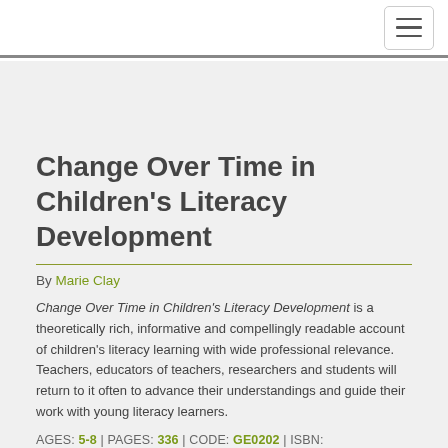[navigation bar with hamburger menu button]
Change Over Time in Children's Literacy Development
By Marie Clay
Change Over Time in Children's Literacy Development is a theoretically rich, informative and compellingly readable account of children's literacy learning with wide professional relevance. Teachers, educators of teachers, researchers and students will return to it often to advance their understandings and guide their work with young literacy learners.
AGES: 5-8 | PAGES: 336 | CODE: GE0202 | ISBN: